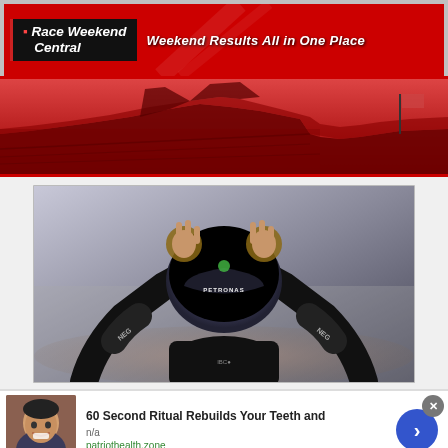[Figure (logo): Race Weekend Central logo banner — white text on dark background reading 'Race Weekend Central' with tagline 'Weekend Results All in One Place' on red background with racing imagery]
[Figure (photo): Red-tinted wide-angle photo of a packed racing stadium grandstand]
[Figure (photo): Formula 1 driver in Mercedes-AMG Petronas suit and helmet making peace/victory signs with both hands raised, celebrating a win]
[Figure (photo): Advertisement: thumbnail of a woman smiling, promoting '60 Second Ritual Rebuilds Your Teeth and' from patriothealth.zone]